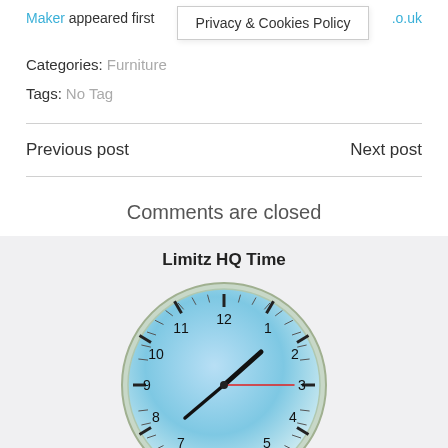Maker appeared first on .o.uk
Privacy & Cookies Policy
Categories: Furniture
Tags: No Tag
Previous post
Next post
Comments are closed
Limitz HQ Time
[Figure (illustration): An analog clock face showing approximately 2:44, with hour and minute hands in black and a red second hand pointing to approximately the 3 o'clock position. The clock has a blue gradient face with tick marks and numbers 1-12.]